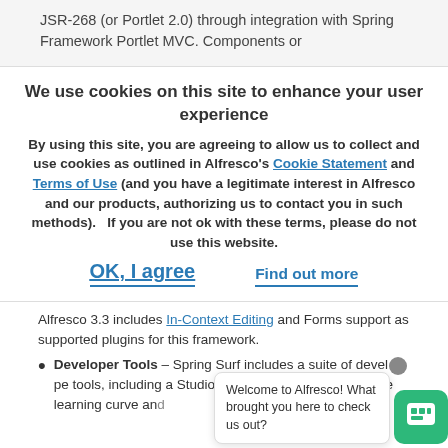JSR-268 (or Portlet 2.0) through integration with Spring Framework Portlet MVC. Components or
We use cookies on this site to enhance your user experience
By using this site, you are agreeing to allow us to collect and use cookies as outlined in Alfresco's Cookie Statement and Terms of Use (and you have a legitimate interest in Alfresco and our products, authorizing us to contact you in such methods).  If you are not ok with these terms, please do not use this website.
OK, I agree
Find out more
Alfresco 3.3 includes In-Context Editing and Forms support as supported plugins for this framework.
Developer Tools – Spring Surf includes a suite of developer tools, including a Studio plugin for SpringSource Tool Suite that helps shrink the learning curve and...
Welcome to Alfresco! What brought you here to check us out?